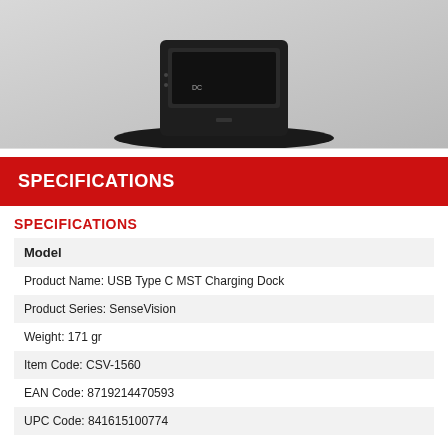[Figure (photo): Black USB Type C MST Charging Dock device on a stand, shown against a light gray background]
SPECIFICATIONS
SPECIFICATIONS
| Model |
| --- |
| Product Name: USB Type C MST Charging Dock |
| Product Series: SenseVision |
| Weight: 171 gr |
| Item Code: CSV-1560 |
| EAN Code: 8719214470593 |
| UPC Code: 841615100774 |